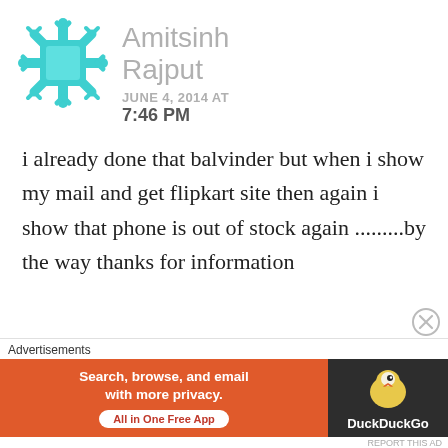[Figure (illustration): Teal/cyan snowflake-style avatar icon for user Amitsinh Rajput]
Amitsinh Rajput JUNE 4, 2014 AT 7:46 PM
i already done that balvinder but when i show my mail and get flipkart site then again i show that phone is out of stock again .........by the way thanks for information
Advertisements
[Figure (screenshot): DuckDuckGo advertisement banner: orange left section saying 'Search, browse, and email with more privacy. All in One Free App' and dark right section with DuckDuckGo duck logo]